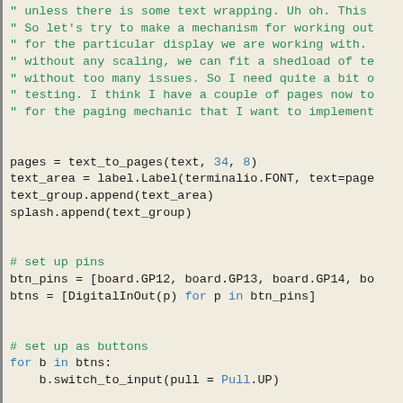Code listing showing Python code with commented text about text wrapping and paging mechanism, followed by code for setting up pins and buttons, and a while loop for reading buttons and paging.